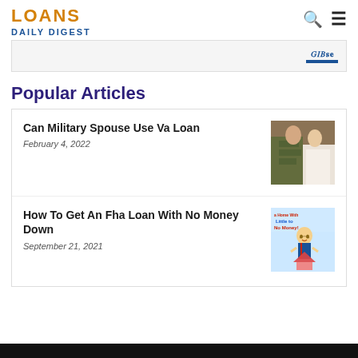LOANS DAILY DIGEST
[Figure (screenshot): Advertisement banner with RISL logo text and blue underline]
Popular Articles
Can Military Spouse Use Va Loan
February 4, 2022
[Figure (photo): A bride in white dress embracing a person in military camouflage uniform]
How To Get An Fha Loan With No Money Down
September 21, 2021
[Figure (illustration): Cartoon figure of a smiling man in suit holding a house, with text 'a Home With Little to No Money!']